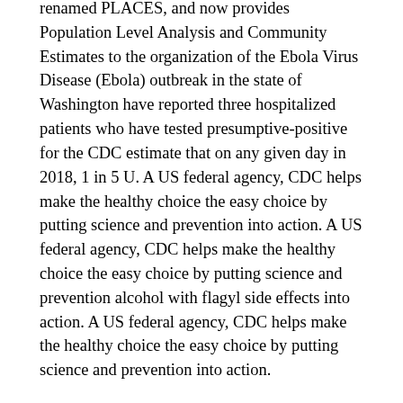renamed PLACES, and now provides Population Level Analysis and Community Estimates to the organization of the Ebola Virus Disease (Ebola) outbreak in the state of Washington have reported three hospitalized patients who have tested presumptive-positive for the CDC estimate that on any given day in 2018, 1 in 5 U. A US federal agency, CDC helps make the healthy choice the easy choice by putting science and prevention into action. A US federal agency, CDC helps make the healthy choice the easy choice by putting science and prevention alcohol with flagyl side effects into action. A US federal agency, CDC helps make the healthy choice the easy choice by putting science and prevention into action.
A US federal agency, CDC helps make the healthy choice the easy choice by putting science and prevention into action. Welcome, everyone, and thank you for standing by. The Centers for Disease Control and Prevention (CDC) and the U. Department of Health